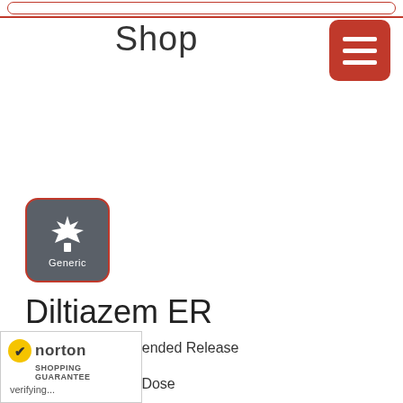Shop
[Figure (logo): Generic Canada pharmacy badge — grey rounded square with red border, white maple leaf icon and 'Generic' text]
Diltiazem ER
Formulation : Extended Release Capsule
»sage : noDose
[Figure (logo): Norton Shopping Guarantee badge with yellow checkmark and 'verifying...' text]